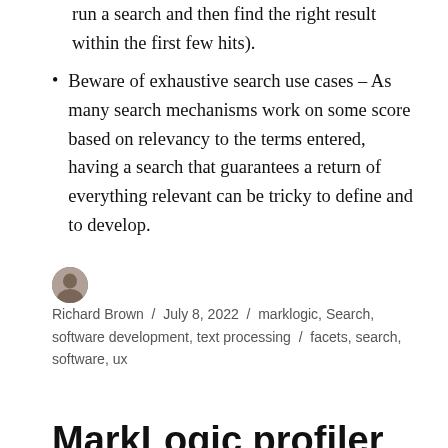run a search and then find the right result within the first few hits).
Beware of exhaustive search use cases – As many search mechanisms work on some score based on relevancy to the terms entered, having a search that guarantees a return of everything relevant can be tricky to define and to develop.
Richard Brown / July 8, 2022 / marklogic, Search, software development, text processing / facets, search, software, ux
MarkLogic profiler
When investigating slow XQuery or XSLT